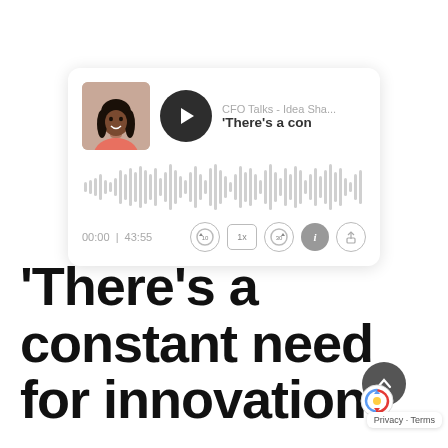[Figure (screenshot): Podcast player widget showing a photo of a Black woman with long dark hair, a dark circular play button, show title 'CFO Talks - Idea Sha...' and episode title "'There's a con", a waveform visualization, time display '00:00 | 43:55', and playback controls including skip back 10, 1x speed, skip forward 30, info, and share buttons.]
‘There’s a constant need for innovation